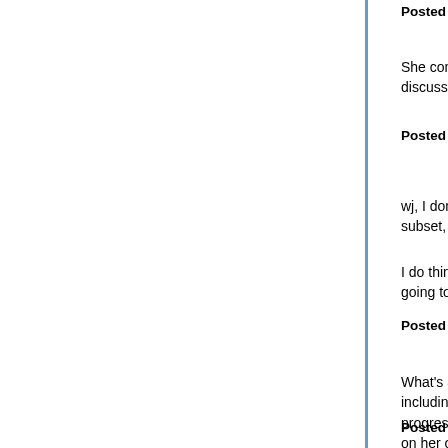Posted by: wj | June 10, 2020 at 07:57 PM
She concentrates on American white progressives but what she discusses applies more widely.
Posted by: hairshirthedonist | June 10, 2020 at 08:58 PM
wj, I don't want to put this too sharply, but if she is dealing with a subset, isn't the questions about sociology being
I do think that the Japanese case can provide som going to warn you, I think it underlines what she is
Posted by: liberal japonicus | June 10, 2020 at 09:07 PM
What's a little ironic is that DiAngelo aims her fire including herself, but the defensive response we'v progressive commentators. You'd think she'd at le on her own political fellows and not laying it on co
Posted by: hairshirthedonist | June 10, 2020 at 09:17 PM